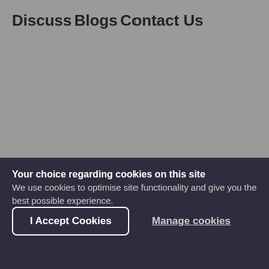Discuss
Blogs
Contact Us
Topics
Your choice regarding cookies on this site
We use cookies to optimise site functionality and give you the best possible experience.
I Accept Cookies
Manage cookies